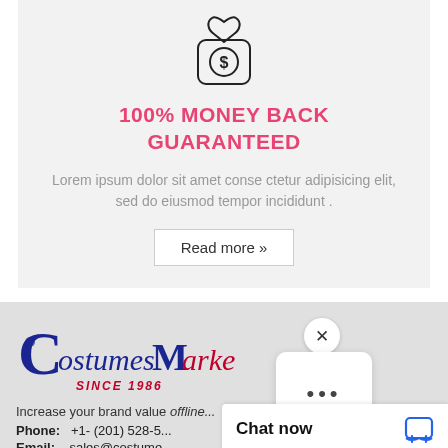[Figure (illustration): Icon of a money bag with a dollar sign, outline style]
100% MONEY BACK GUARANTEED
Lorem ipsum dolor sit amet conse ctetur adipisicing elit, sed do eiusmod tempor incididunt .
Read more »
[Figure (logo): CostumesMarket logo with text SINCE 1986]
Increase your brand value offline...
Phone:  +1- (201) 528-5...
Email:  sales@costume...